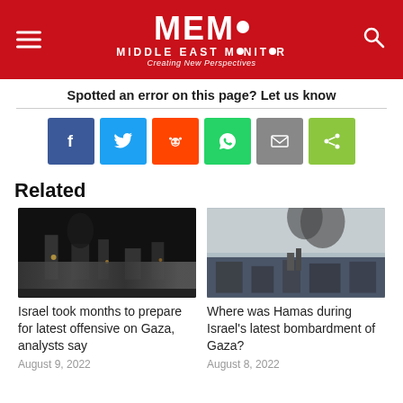MEMO MIDDLE EAST MONITOR Creating New Perspectives
Spotted an error on this page? Let us know
[Figure (infographic): Social sharing buttons: Facebook, Twitter, Reddit, WhatsApp, Email, Share]
Related
[Figure (photo): Nighttime photo of Gaza under attack with smoke and lights]
Israel took months to prepare for latest offensive on Gaza, analysts say
August 9, 2022
[Figure (photo): Daytime photo of Gaza with smoke rising from buildings]
Where was Hamas during Israel's latest bombardment of Gaza?
August 8, 2022